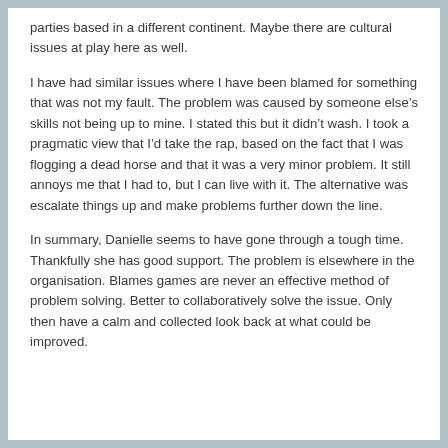parties based in a different continent. Maybe there are cultural issues at play here as well.
I have had similar issues where I have been blamed for something that was not my fault. The problem was caused by someone else's skills not being up to mine. I stated this but it didn't wash. I took a pragmatic view that I'd take the rap, based on the fact that I was flogging a dead horse and that it was a very minor problem. It still annoys me that I had to, but I can live with it. The alternative was escalate things up and make problems further down the line.
In summary, Danielle seems to have gone through a tough time. Thankfully she has good support. The problem is elsewhere in the organisation. Blames games are never an effective method of problem solving. Better to collaboratively solve the issue. Only then have a calm and collected look back at what could be improved.